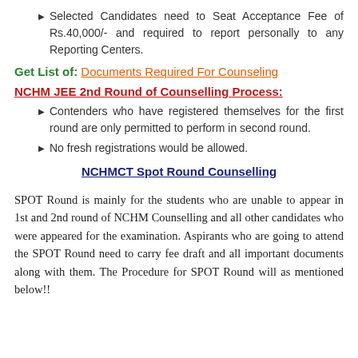Selected Candidates need to Seat Acceptance Fee of Rs.40,000/- and required to report personally to any Reporting Centers.
Get List of: Documents Required For Counseling
NCHM JEE 2nd Round of Counselling Process:
Contenders who have registered themselves for the first round are only permitted to perform in second round.
No fresh registrations would be allowed.
NCHMCT Spot Round Counselling
SPOT Round is mainly for the students who are unable to appear in 1st and 2nd round of NCHM Counselling and all other candidates who were appeared for the examination. Aspirants who are going to attend the SPOT Round need to carry fee draft and all important documents along with them. The Procedure for SPOT Round will as mentioned below!!